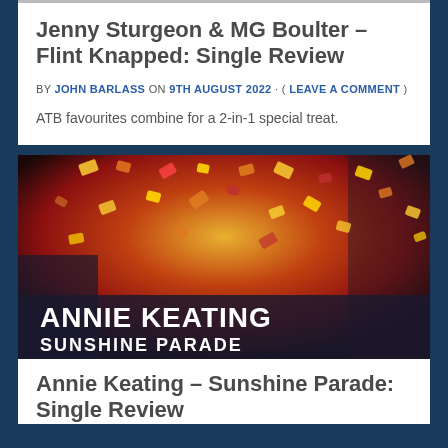Jenny Sturgeon & MG Boulter – Flint Knapped: Single Review
BY JOHN BARLASS ON 9TH AUGUST 2022 · ( LEAVE A COMMENT )
ATB favourites combine for a 2-in-1 special treat.
[Figure (photo): Album artwork for Annie Keating Sunshine Parade – colorful confetti/fireworks image with text overlaid: ANNIE KEATING SUNSHINE PARADE]
Annie Keating – Sunshine Parade: Single Review